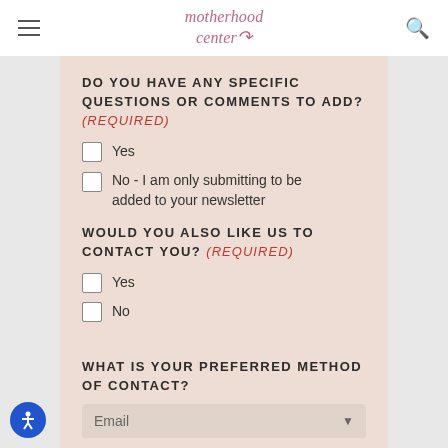motherhood center
DO YOU HAVE ANY SPECIFIC QUESTIONS OR COMMENTS TO ADD? (REQUIRED)
Yes
No - I am only submitting to be added to your newsletter
WOULD YOU ALSO LIKE US TO CONTACT YOU? (REQUIRED)
Yes
No
WHAT IS YOUR PREFERRED METHOD OF CONTACT?
Email